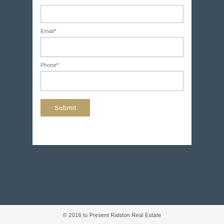Email*
Phone*
Submit
© 2018 to Present Ralston Real Estate